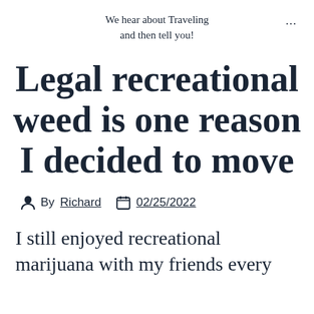We hear about Traveling and then tell you!
Legal recreational weed is one reason I decided to move
By Richard  02/25/2022
I still enjoyed recreational marijuana with my friends every